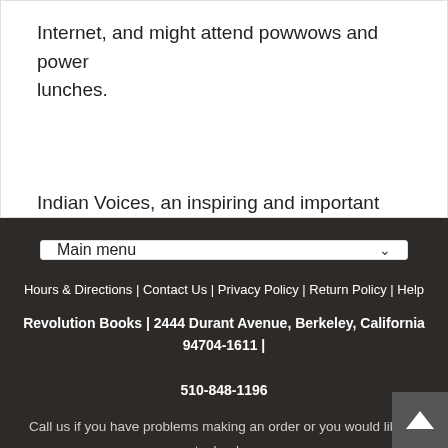Internet, and might attend powwows and power lunches.
Indian Voices, an inspiring and important
Main menu
Hours & Directions | Contact Us | Privacy Policy | Return Policy | Help
Revolution Books | 2444 Durant Avenue, Berkeley, California 94704-1611 | 510-848-1196
Call us if you have problems making an order or you would like to get a book you don't see on our site. Call us to volunteer, & help get these books to the people!
Copyright ©Revolution Books